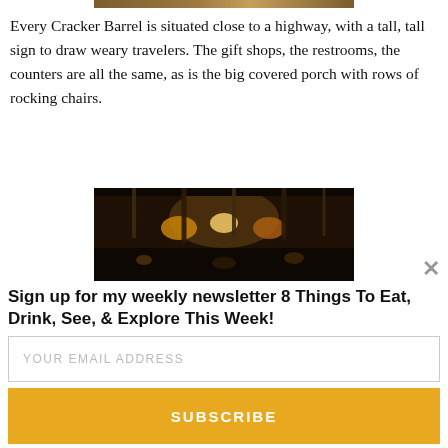[Figure (photo): Partial top edge of a photo showing a Cracker Barrel interior or exterior, cut off at top of page]
Every Cracker Barrel is situated close to a highway, with a tall, tall sign to draw weary travelers. The gift shops, the restrooms, the counters are all the same, as is the big covered porch with rows of rocking chairs.
[Figure (photo): Dark interior photo of a Cracker Barrel restaurant showing dim lighting, hanging items, and warm amber highlights]
Sign up for my weekly newsletter 8 Things To Eat, Drink, See, & Explore This Week!
YOUR EMAIL ADDRESS
SUBSCRIBE